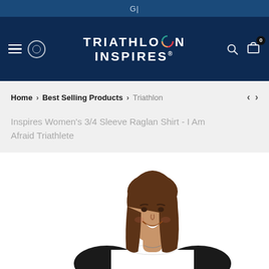G|
[Figure (logo): Triathlon Inspires logo with colorful O on dark navy background, with hamburger menu, lululemon icon, search and cart icons]
Home > Best Selling Products > Triathlon
Inspires Women's 3/4 Sleeve Raglan Shirt - I Am Afraid Triathlete
[Figure (photo): Woman smiling wearing a black and white 3/4 sleeve raglan baseball-style shirt, visible from shoulders up with partial torso]